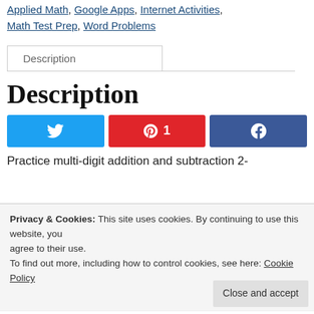Applied Math, Google Apps, Internet Activities, Math Test Prep, Word Problems
Description
Description
[Figure (other): Social share buttons: Twitter (blue), Pinterest with count 1 (red), Facebook (dark blue)]
Practice multi-digit addition and subtraction 2-
Privacy & Cookies: This site uses cookies. By continuing to use this website, you agree to their use.
To find out more, including how to control cookies, see here: Cookie Policy
prizes. Their choices will affect the outcome